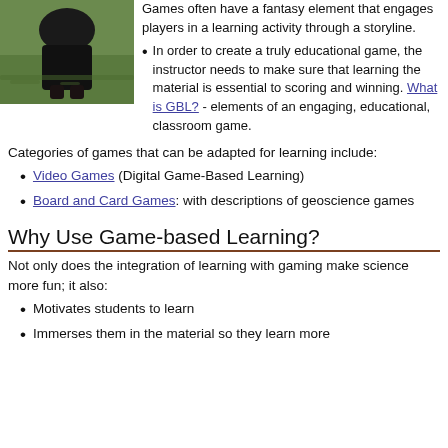[Figure (photo): Photo of a person in dark clothes outdoors on grass/ground, likely a student or player in a game.]
Games often have a fantasy element that engages players in a learning activity through a storyline.
In order to create a truly educational game, the instructor needs to make sure that learning the material is essential to scoring and winning. What is GBL? - elements of an engaging, educational, classroom game.
Categories of games that can be adapted for learning include:
Video Games (Digital Game-Based Learning)
Board and Card Games: with descriptions of geoscience games
Why Use Game-based Learning?
Not only does the integration of learning with gaming make science more fun; it also:
Motivates students to learn
Immerses them in the material so they learn more effectively